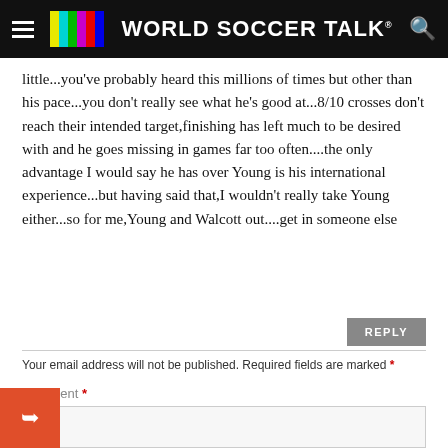WORLD SOCCER TALK
little...you've probably heard this millions of times but other than his pace...you don't really see what he's good at...8/10 crosses don't reach their intended target,finishing has left much to be desired with and he goes missing in games far too often....the only advantage I would say he has over Young is his international experience...but having said that,I wouldn't really take Young either...so for me,Young and Walcott out....get in someone else
REPLY
Your email address will not be published. Required fields are marked *
Comment *